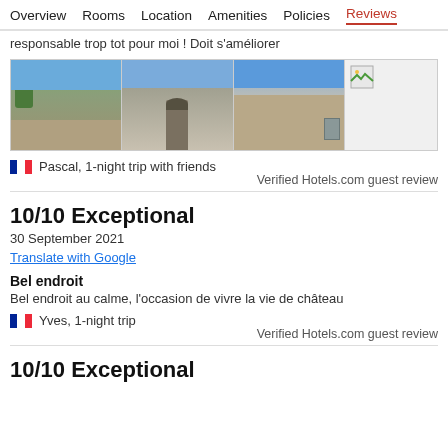Overview  Rooms  Location  Amenities  Policies  Reviews
responsable trop tot pour moi ! Doit s'améliorer
[Figure (photo): Strip of four photos showing a French château property exterior and grounds]
Pascal, 1-night trip with friends
Verified Hotels.com guest review
10/10 Exceptional
30 September 2021
Translate with Google
Bel endroit
Bel endroit au calme, l'occasion de vivre la vie de château
Yves, 1-night trip
Verified Hotels.com guest review
10/10 Exceptional